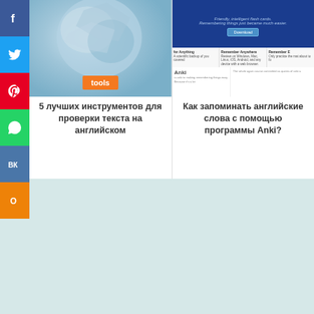[Figure (screenshot): Social media sharing sidebar with Facebook, Twitter, Pinterest, WhatsApp, VK, and Odnoklassniki buttons]
[Figure (photo): Crumpled paper ball with orange 'tools' badge overlay - thumbnail for article about text checking tools]
5 лучших инструментов для проверки текста на английском
[Figure (screenshot): Screenshot of Anki flashcard application website showing download button and features]
Как запоминать английские слова с помощью программы Anki?